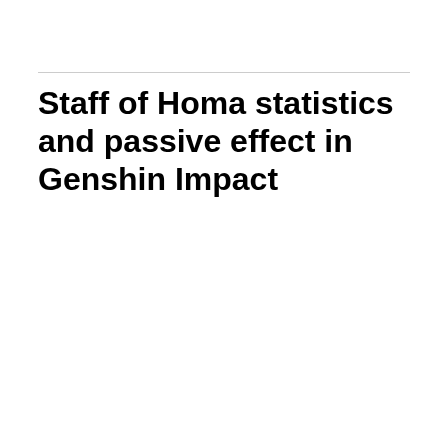Staff of Homa statistics and passive effect in Genshin Impact